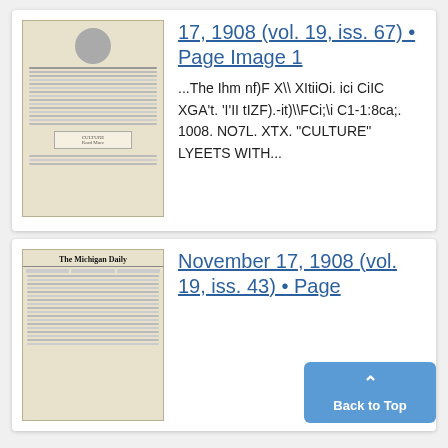[Figure (photo): Thumbnail of a historical newspaper page with a portrait photo near top, columns of text, and a small boxed notice near bottom]
17, 1908 (vol. 19, iss. 67) • Page Image 1
...The Ihm nf)F X\ XItiiOi. ici CiIC XGA't. 'I'II tIZF).-it)\FCi;\i C1-1:8ca;. 1008. NO7L. XTX. "CULTURE" LYEETS WITH...
[Figure (photo): Thumbnail of The Michigan Daily newspaper front page, November 17, 1908, showing masthead and columns of text]
November 17, 1908 (vol. 19, iss. 43) • Page